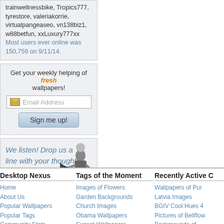trainwellnessbike, Tropics777, tyrestore, valeriakorrie, virtualpangeaseo, vn138biz1, w88betfun, xxLuxury777xx
Most users ever online was 150,759 on 9/11/14.
Get your weekly helping of fresh wallpapers!
[Figure (screenshot): Email Address input field with envelope icon]
[Figure (screenshot): Sign me up! button]
We listen! Drop us a line with your thoughts, comments, or feedback!
[Figure (illustration): Black and white illustration of a person with a megaphone]
[Figure (illustration): Support This Site button with red heart icon]
Desktop Nexus
Home
About Us
Popular Wallpapers
Popular Tags
Community Stats
Tags of the Moment
Images of Flowers
Garden Backgrounds
Church Images
Obama Wallpapers
Sunset Wallpapers
Recently Active C
Wallpapers of Pur
Latvia Images
BGIV Cool Hues 4
Pictures of Bellflow
Backgrounds of